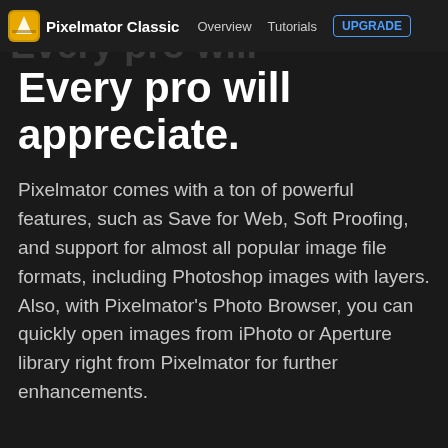Advanced Features
Pixelmator Classic  Overview  Tutorials  UPGRADE
Every pro will appreciate.
Pixelmator comes with a ton of powerful features, such as Save for Web, Soft Proofing, and support for almost all popular image file formats, including Photoshop images with layers. Also, with Pixelmator's Photo Browser, you can quickly open images from iPhoto or Aperture library right from Pixelmator for further enhancements.